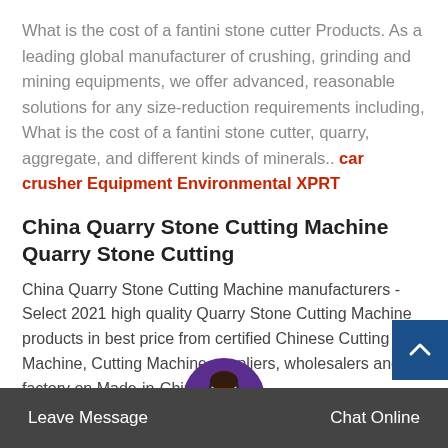What is the cost of a fantini stone cutter Products. As a leading global manufacturer of crushing, grinding and mining equipments, we offer advanced, reasonable solutions for any size-reduction requirements including, What is the cost of a fantini stone cutter, quarry, aggregate, and different kinds of minerals.. car crusher Equipment Environmental XPRT
China Quarry Stone Cutting Machine Quarry Stone Cutting
China Quarry Stone Cutting Machine manufacturers - Select 2021 high quality Quarry Stone Cutting Machine products in best price from certified Chinese Cutting Machine, Cutting Machine suppliers, wholesalers and factory on Made-in-China.com
Leave Message   Chat Online